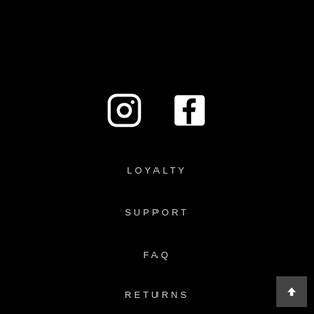[Figure (logo): Instagram and Facebook social media icons in white on black background]
LOYALTY
SUPPORT
FAQ
RETURNS